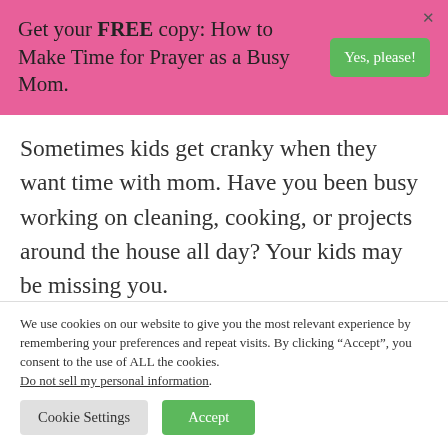Get your FREE copy: How to Make Time for Prayer as a Busy Mom.
Sometimes kids get cranky when they want time with mom. Have you been busy working on cleaning, cooking, or projects around the house all day? Your kids may be missing you.
When you can, plan to spend time talking
We use cookies on our website to give you the most relevant experience by remembering your preferences and repeat visits. By clicking “Accept”, you consent to the use of ALL the cookies. Do not sell my personal information.